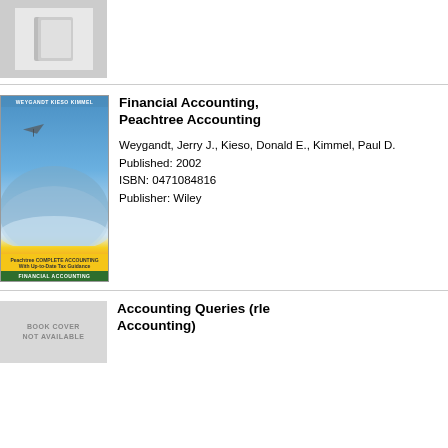[Figure (photo): Partial book cover image at top, cut off, showing gray placeholder book icon]
[Figure (photo): Book cover of Financial Accounting with Peachtree Accounting - blue cover showing a hang glider over mountains, with yellow Peachtree Complete Accounting strip and green Financial Accounting strip at bottom]
Financial Accounting, Peachtree Accounting
Weygandt, Jerry J., Kieso, Donald E., Kimmel, Paul D.
Published: 2002
ISBN: 0471084816
Publisher: Wiley
[Figure (photo): Book cover placeholder reading BOOK COVER NOT AVAILABLE]
Accounting Queries (rle Accounting)